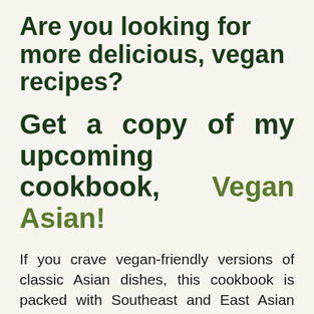Are you looking for more delicious, vegan recipes?
Get a copy of my upcoming cookbook, Vegan Asian!
If you crave vegan-friendly versions of classic Asian dishes, this cookbook is packed with Southeast and East Asian dishes inspired by those I grew up enjoying at home and those I've tried from my travels. From iconic Thai dishes to piping-hot Japanese fare and everything in between, the recipes in this will take your palate on a delicious food trip across Asian and learn a few classic